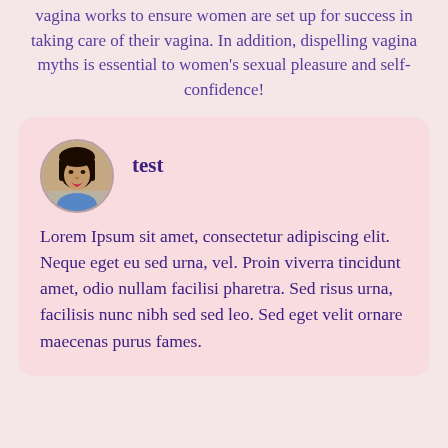vagina works to ensure women are set up for success in taking care of their vagina. In addition, dispelling vagina myths is essential to women's sexual pleasure and self-confidence!
[Figure (photo): Circular avatar photo of a young woman with dark hair and red lipstick]
test
Lorem Ipsum sit amet, consectetur adipiscing elit. Neque eget eu sed urna, vel. Proin viverra tincidunt amet, odio nullam facilisi pharetra. Sed risus urna, facilisis nunc nibh sed sed leo. Sed eget velit ornare maecenas purus fames.